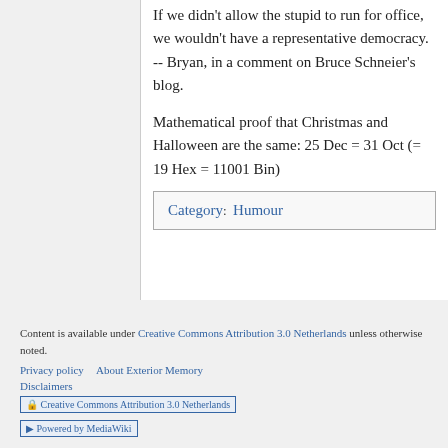If we didn't allow the stupid to run for office, we wouldn't have a representative democracy. -- Bryan, in a comment on Bruce Schneier's blog.
Mathematical proof that Christmas and Halloween are the same: 25 Dec = 31 Oct (= 19 Hex = 11001 Bin)
Category: Humour
Content is available under Creative Commons Attribution 3.0 Netherlands unless otherwise noted.
Privacy policy   About Exterior Memory
Disclaimers
[Figure (logo): Creative Commons Attribution 3.0 Netherlands badge]
[Figure (logo): Powered by MediaWiki badge]